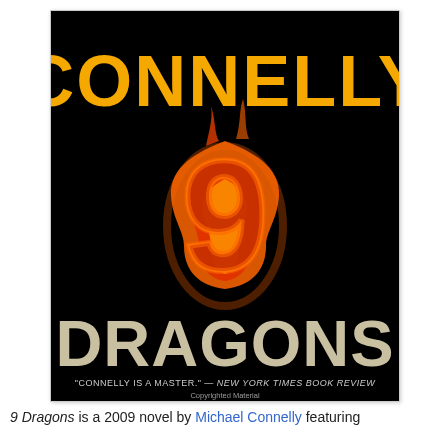[Figure (illustration): Book cover of '9 Dragons' by Michael Connelly. Black background with 'CONNELLY' in large yellow bold text at top, a flaming number '9' in the center rendered in fire/flame imagery (orange, red, yellow), and 'DRAGONS' in large light gray/beige bold text at the bottom. A quote at the bottom reads: "CONNELLY IS A MASTER." — NEW YORK TIMES BOOK REVIEW, with 'Copyrighted Material' below it.]
9 Dragons is a 2009 novel by Michael Connelly featuring